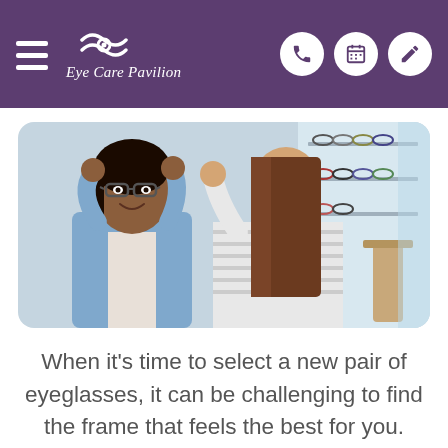Eye Care Pavilion
[Figure (photo): Two women in an optical shop, one trying on eyeglasses while the other assists. A display of eyeglass frames is visible in the background.]
When it's time to select a new pair of eyeglasses, it can be challenging to find the frame that feels the best for you. Eyeglass makers have become increasingly aware of their clients' desire to customize frames as